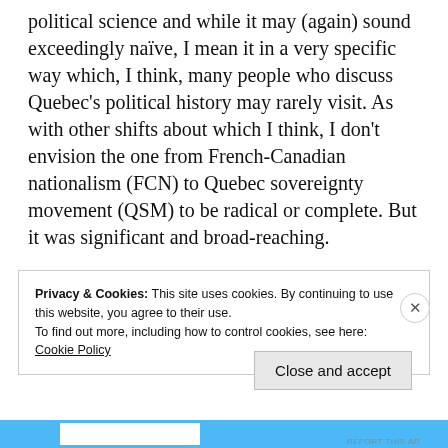political science and while it may (again) sound exceedingly naïve, I mean it in a very specific way which, I think, many people who discuss Quebec's political history may rarely visit. As with other shifts about which I think, I don't envision the one from French-Canadian nationalism (FCN) to Quebec sovereignty movement (QSM) to be radical or complete. But it was significant and broad-reaching.
Privacy & Cookies: This site uses cookies. By continuing to use this website, you agree to their use.
To find out more, including how to control cookies, see here: Cookie Policy
Close and accept